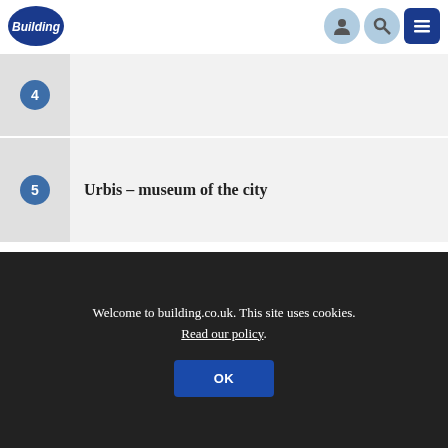Building
4
5 — Urbis – museum of the city
Welcome to building.co.uk. This site uses cookies. Read our policy.